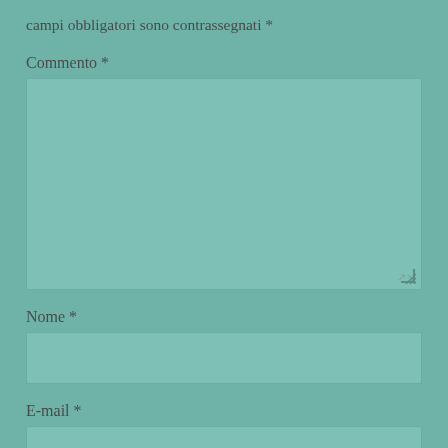campi obbligatori sono contrassegnati *
Commento *
[Figure (other): Large textarea input box with resize handle in bottom-right corner, teal background]
Nome *
[Figure (other): Single-line text input box, teal background]
E-mail *
[Figure (other): Single-line email input box, teal background, partially visible]